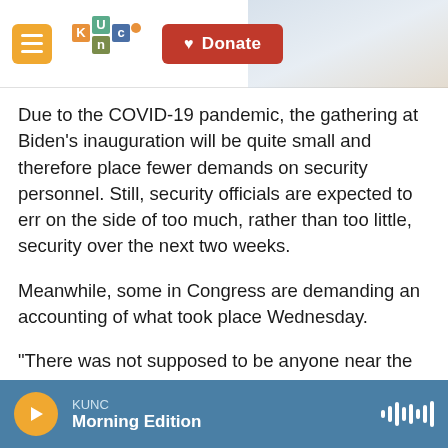[Figure (logo): KUNC radio station logo with colorful puzzle piece letters and hamburger menu button, plus a red Donate button]
Due to the COVID-19 pandemic, the gathering at Biden's inauguration will be quite small and therefore place fewer demands on security personnel. Still, security officials are expected to err on the side of too much, rather than too little, security over the next two weeks.
Meanwhile, some in Congress are demanding an accounting of what took place Wednesday.
"There was not supposed to be anyone near the Capitol," said Rep. Tim Ryan (D-Ohio), who chairs a committee that oversees the Capitol Police. "Those
KUNC Morning Edition